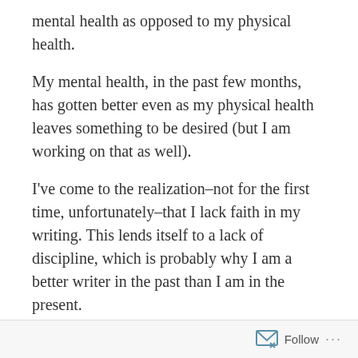mental health as opposed to my physical health.
My mental health, in the past few months, has gotten better even as my physical health leaves something to be desired (but I am working on that as well).
I've come to the realization–not for the first time, unfortunately–that I lack faith in my writing. This lends itself to a lack of discipline, which is probably why I am a better writer in the past than I am in the present.
Part of this is because fatigue–both mental and physical. I have struggled with depression for years, and I also struggle with the need to be perfect and to constantly prove myself as having value.
Follow